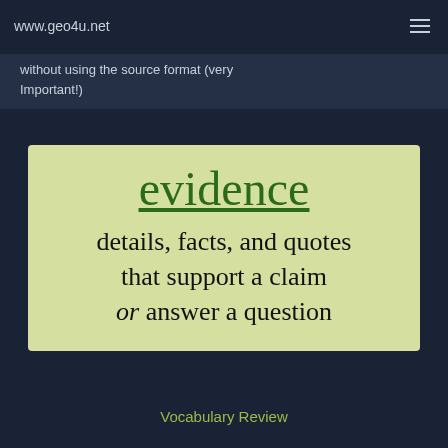www.geo4u.net
without using the source format (very Important!)
[Figure (infographic): Green-tinted vocabulary card on light sage background defining 'evidence' in large green underlined serif text, followed by the definition: details, facts, and quotes that support a claim or answer a question, with 'or' italicized.]
Vocabulary Review